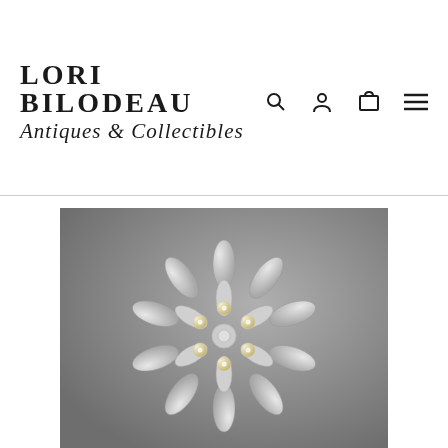[Figure (logo): Lori Bilodeau Antiques & Collectibles store logo with script and serif text]
[Figure (photo): Silver flower brooch with rhinestone crystal clusters on a gray background]